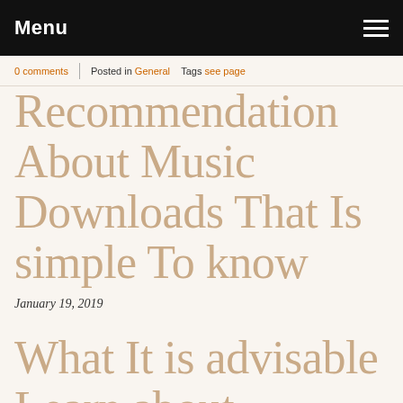Menu
0 comments  |  Posted in General  Tags see page
Recommendation About Music Downloads That Is simple To know
January 19, 2019
What It is advisable Learn about